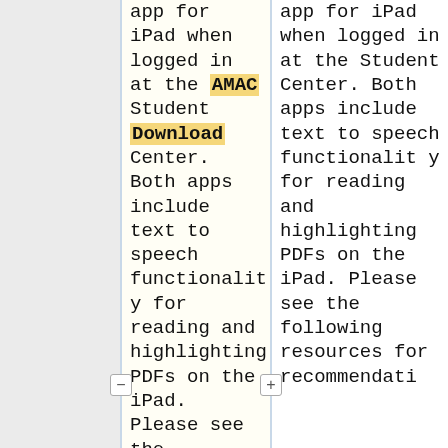app for iPad when logged in at the AMAC Student Download Center. Both apps include text to speech functionality for reading and highlighting PDFs on the iPad. Please see the following resources for
app for iPad when logged in at the Student Center. Both apps include text to speech functionality for reading and highlighting PDFs on the iPad. Please see the following resources for recommendati